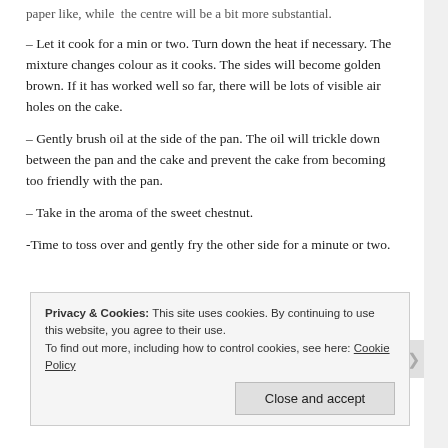The thin layer on the side of the pan will be very crispy, almost paper like, while the centre will be a bit more substantial.
– Let it cook for a min or two. Turn down the heat if necessary. The mixture changes colour as it cooks. The sides will become golden brown. If it has worked well so far, there will be lots of visible air holes on the cake.
– Gently brush oil at the side of the pan. The oil will trickle down between the pan and the cake and prevent the cake from becoming too friendly with the pan.
– Take in the aroma of the sweet chestnut.
-Time to toss over and gently fry the other side for a minute or two.
Privacy & Cookies: This site uses cookies. By continuing to use this website, you agree to their use.
To find out more, including how to control cookies, see here: Cookie Policy
Close and accept